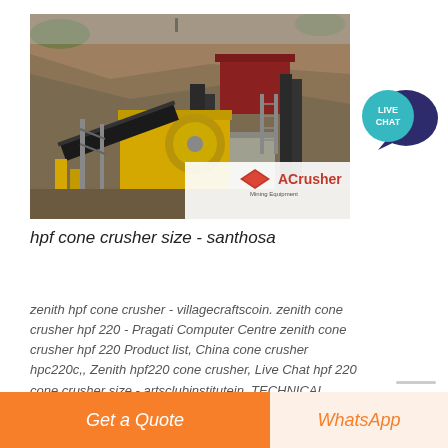[Figure (photo): Outdoor mining/crushing plant with yellow jaw crusher machinery, conveyor belts, red structure, concrete pillars, hillside in background. ACrusher Mining Equipment logo visible at bottom right of photo.]
hpf cone crusher size - santhosa
zenith hpf cone crusher - villagecraftscoin. zenith cone crusher hpf 220 - Pragati Computer Centre zenith cone crusher hpf 220 Product list, China cone crusher hpc220c,, Zenith hpf220 cone crusher, Live Chat hpf 220 cone crusher size - artsclubinstitutein. TECHNICAL NOTES 5 CRUSHERS -